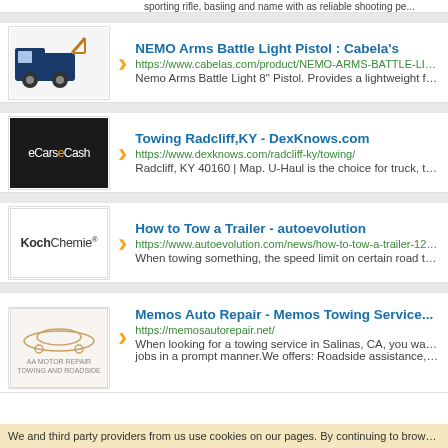NEMO Arms Battle Light Pistol : Cabela's | https://www.cabelas.com/product/NEMO-ARMS-BATTLE-LIG... | Nemo Arms Battle Light 8" Pistol. Provides a lightweight feel
Towing Radcliff,KY - DexKnows.com | https://www.dexknows.com/radcliff-ky/towing/ | Radcliff, KY 40160 | Map. U-Haul is the choice for truck, traile...
How to Tow a Trailer - autoevolution | https://www.autoevolution.com/news/how-to-tow-a-trailer-124... | When towing something, the speed limit on certain road type...
Memos Auto Repair - Memos Towing Service... | https://memosautorepair.net/ | When looking for a towing service in Salinas, CA, you want o... | jobs in a prompt manner.We offers: Roadside assistance, Tire...
We and third party providers from us use cookies on our pages. By continuing to browse our...